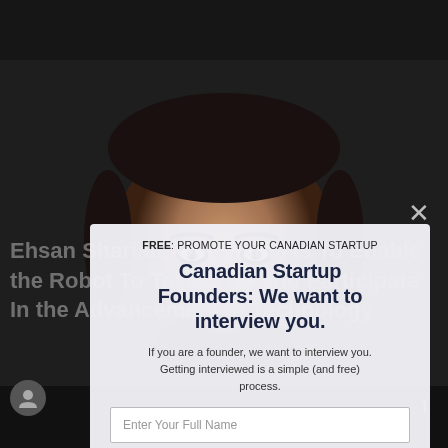[Figure (photo): Portrait photo of a man (Ehsan Shariati) with dark hair and beard, smiling, dark background]
Ehsan Shariati: Our Vision Is To Enable the Robot To Take Over and Participate In the Advancement of Technology
FREE: PROMOTE YOUR CANADIAN STARTUP
Canadian Startup Founders: We want to interview you.
If you are a founder, we want to interview you. Getting interviewed is a simple (and free) process.
Enter Your Full Name